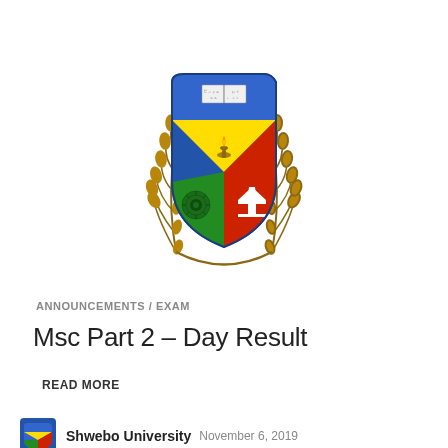[Figure (logo): Shwebo University shield crest logo with blue top section showing open book, divided lower section with green/yellow/red quadrants containing a lamp flame, sunburst, and temple/pagoda, flanked by golden wheat stalks]
ANNOUNCEMENTS / EXAM
Msc Part 2 – Day Result
READ MORE
Shwebo University   November 6, 2019